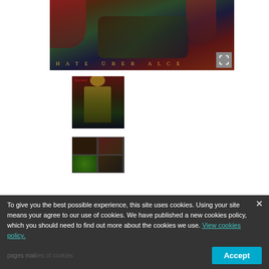[Figure (photo): Main large album artwork for Kreator 'Hate Uber Alles' showing dark fantasy battle scene with text 'HATE UBER ALCE' at bottom, with expand icon in bottom right corner]
[Figure (photo): Thumbnail of Kreator album cover showing armored figure with Kreator logo in red at top]
[Figure (photo): Thumbnail of Kreator box set showing multiple items including vinyl records, CDs and artwork in a 2x2 grid layout]
To give you the best possible experience, this site uses cookies. Using your site means your agree to our use of cookies. We have published a new cookies policy, which you should need to find out more about the cookies we use. View cookies policy.
Accept